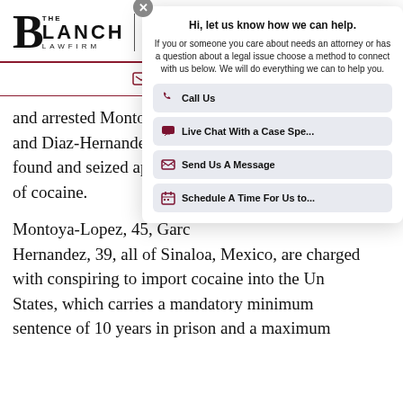[Figure (logo): The Blanch Law Firm logo with large B and text BLANCH LAWFIRM, followed by navigation text CRIMINAL DEFENSE - GOVERNMENT]
GET HELP NOW
and arrested Montoya-Lo and Diaz-Hernandez. The found and seized approxi of cocaine.
[Figure (screenshot): Chat widget popup: 'Hi, let us know how we can help. If you or someone you care about needs an attorney or has a question about a legal issue choose a method to connect with us below. We will do everything we can to help you.' with buttons: Call Us, Live Chat With a Case Spe..., Send Us A Message, Schedule A Time For Us to...]
Montoya-Lopez, 45, Garc Hernandez, 39, all of Sinaloa, Mexico, are charged with conspiring to import cocaine into the United States, which carries a mandatory minimum sentence of 10 years in prison and a maximum